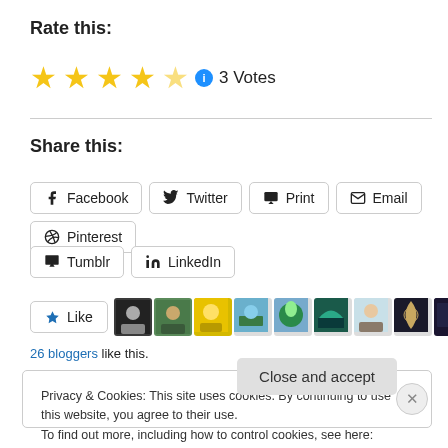Rate this:
[Figure (other): 4.5 star rating with info icon and '3 Votes' text]
Share this:
Facebook | Twitter | Print | Email | Pinterest | Tumblr | LinkedIn share buttons
[Figure (other): Like button and blogger avatar row]
26 bloggers like this.
Privacy & Cookies: This site uses cookies. By continuing to use this website, you agree to their use. To find out more, including how to control cookies, see here: Cookie Policy